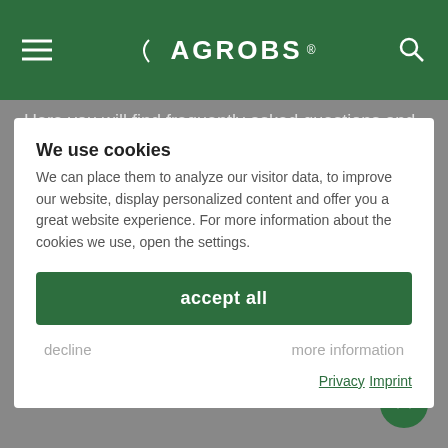AGROBS
Here you will find frequently asked questions and answers about Weidemineral-Cobs.
We use cookies
We can place them to analyze our visitor data, to improve our website, display personalized content and offer you a great website experience. For more information about the cookies we use, open the settings.
accept all
decline
more information
Privacy  Imprint
Add your customer opinion